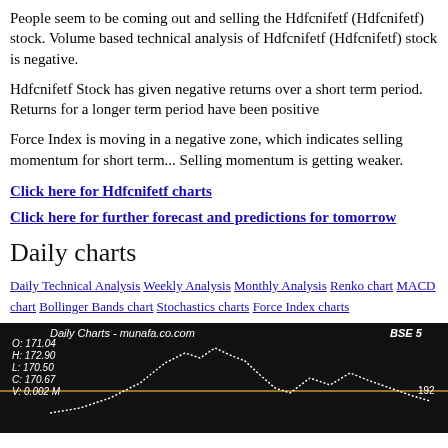People seem to be coming out and selling the Hdfcnifetf (Hdfcnifetf) stock. Volume based technical analysis of Hdfcnifetf (Hdfcnifetf) stock is negative.
Hdfcnifetf Stock has given negative returns over a short term period. Returns for a longer term period have been positive
Force Index is moving in a negative zone, which indicates selling momentum for short term... Selling momentum is getting weaker.
Click here for Hdfcnifetf charts
Click here for further forecast and predictions for tomorrow
Daily charts
Daily Technical Analysis Weekly Analysis Monthly Analysis Renko chart MACD chart Bollinger Bands chart Stochastics charts Force Index charts
[Figure (screenshot): Daily Charts screenshot from munafa.co.com showing BSE stock chart with OHLCV data: O:171.04, H:172.90, L:170.50, C:170.67, V:0.002M and a price level of 192, displayed on dark background with white dotted line chart]